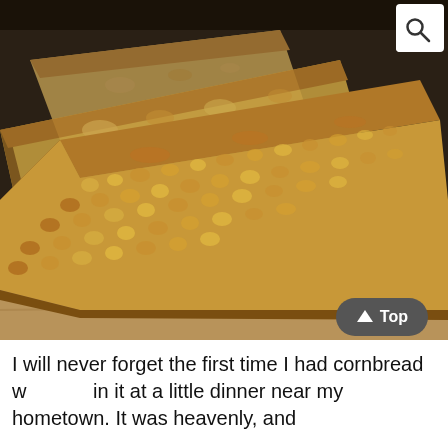[Figure (photo): Close-up photograph of slices of golden-brown cornbread on a wooden cutting board. The bread has a moist, textured interior with visible corn kernels. Multiple slices are visible, with one in the foreground showing the crumb structure clearly.]
I will never forget the first time I had cornbread w[Top button]in it at a little dinner near my hometown. It was heavenly, and